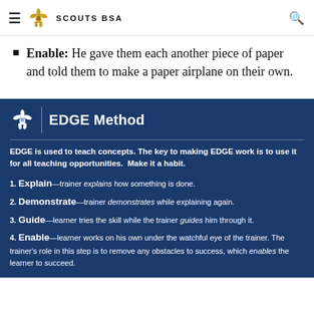Scouts BSA
Enable: He gave them each another piece of paper and told them to make a paper airplane on their own.
[Figure (infographic): EDGE Method infographic with dark blue background, Scouts BSA fleur-de-lis logo, title 'EDGE Method', introductory text about EDGE, and four numbered steps: 1. Explain, 2. Demonstrate, 3. Guide, 4. Enable]
EDGE is used to teach concepts. The key to making EDGE work is to use it for all teaching opportunities. Make it a habit.
1. Explain—trainer explains how something is done.
2. Demonstrate—trainer demonstrates while explaining again.
3. Guide—learner tries the skill while the trainer guides him through it.
4. Enable—learner works on his own under the watchful eye of the trainer. The trainer's role in this step is to remove any obstacles to success, which enables the learner to succeed.